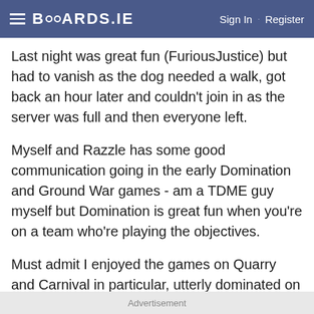BOARDS.IE  Sign In · Register
Last night was great fun (FuriousJustice) but had to vanish as the dog needed a walk, got back an hour later and couldn't join in as the server was full and then everyone left.
Myself and Razzle has some good communication going in the early Domination and Ground War games - am a TDME guy myself but Domination is great fun when you're on a team who're playing the objectives.
Must admit I enjoyed the games on Quarry and Carnival in particular, utterly dominated on Quarry and had a good scrap for B on Carnival.
I'm going on now for a bit and will be on later tonight,
Advertisement